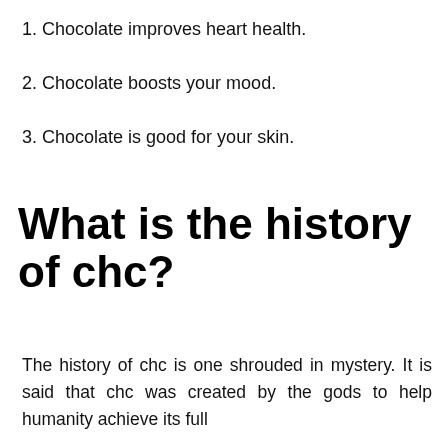1. Chocolate improves heart health.
2. Chocolate boosts your mood.
3. Chocolate is good for your skin.
What is the history of chc?
The history of chc is one shrouded in mystery. It is said that chc was created by the gods to help humanity achieve its full